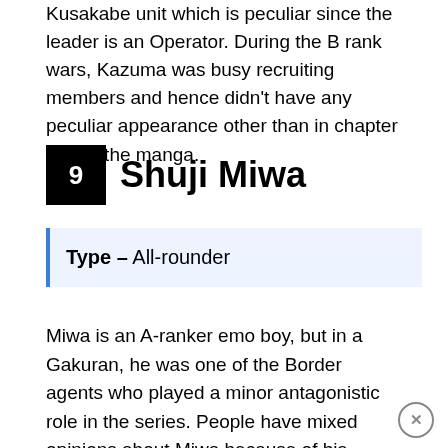Kusakabe unit which is peculiar since the leader is an Operator. During the B rank wars, Kazuma was busy recruiting members and hence didn't have any peculiar appearance other than in chapter 180 of the manga.
9 Shuji Miwa
Type – All-rounder
Miwa is an A-ranker emo boy, but in a Gakuran, he was one of the Border agents who played a minor antagonistic role in the series. People have mixed opinions about Miwa because of his character motives and deep hatred for the Neighbours.